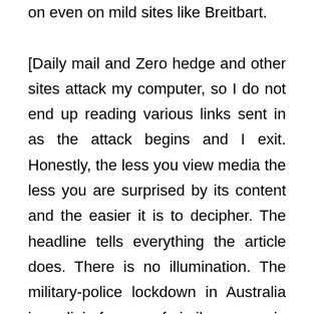on even on mild sites like Breitbart.

[Daily mail and Zero hedge and other sites attack my computer, so I do not end up reading various links sent in as the attack begins and I exit. Honestly, the less you view media the less you are surprised by its content and the easier it is to decipher. The headline tells everything the article does. There is no illumination. The military-police lockdown in Australia is a clinic for use of similar means in the U.S. Since there was a 4-year lag between the Charlottesville clinic of 2017 and the Dee Cee Coup sham of 2021, I except to see Australian style martial law instituted in the U.S. due to disease/election concerns in 2024-25.]